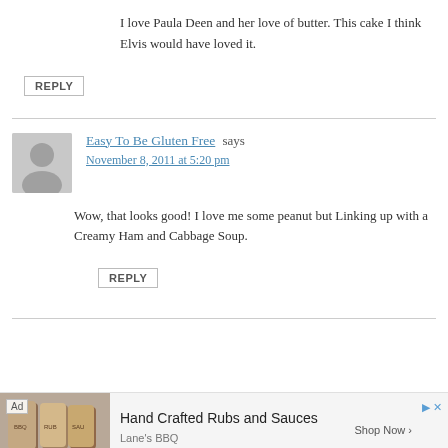I love Paula Deen and her love of butter. This cake I think Elvis would have loved it.
REPLY
Easy To Be Gluten Free says
November 8, 2011 at 5:20 pm
Wow, that looks good! I love me some peanut but Linking up with a Creamy Ham and Cabbage Soup.
REPLY
[Figure (other): Advertisement banner: Hand Crafted Rubs and Sauces, Lane's BBQ, Shop Now]